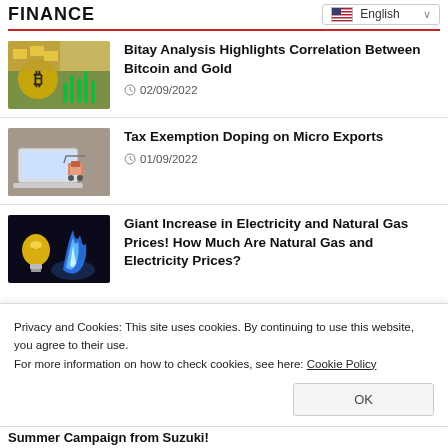FINANCE
Bitay Analysis Highlights Correlation Between Bitcoin and Gold — 02/09/2022
Tax Exemption Doping on Micro Exports — 01/09/2022
Giant Increase in Electricity and Natural Gas Prices! How Much Are Natural Gas and Electricity Prices?
Privacy and Cookies: This site uses cookies. By continuing to use this website, you agree to their use.
For more information on how to check cookies, see here: Cookie Policy
OK
Summer Campaign from Suzuki!